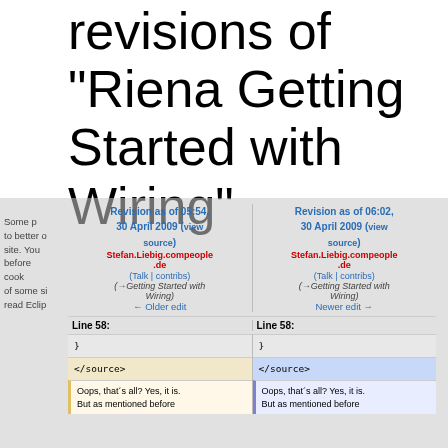revisions of "Riena Getting Started with Wiring"
Revision as of 05:54, 30 April 2009 (view source)
Stefan.Liebig.compeople.de (Talk | contribs)
(→Getting Started with Wiring)
← Older edit
Revision as of 06:02, 30 April 2009 (view source)
Stefan.Liebig.compeople.de (Talk | contribs)
(→Getting Started with Wiring)
Newer edit →
Line 58:
Line 58:
}
}
</source>
</source>
Oops, that´s all? Yes, it is. But as mentioned before
Oops, that´s all? Yes, it is. But as mentioned before